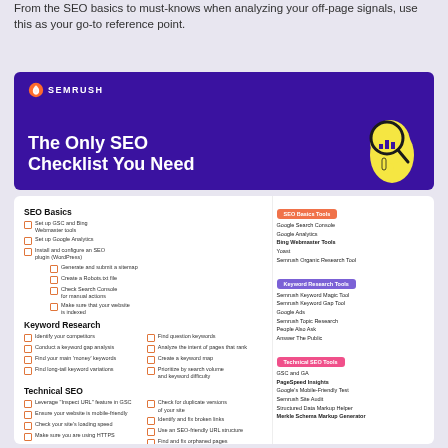From the SEO basics to must-knows when analyzing your off-page signals, use this as your go-to reference point.
[Figure (infographic): Semrush branded banner with purple background showing 'The Only SEO Checklist You Need' title with logo and cartoon mascot holding a magnifying glass]
SEO Basics
Set up GSC and Bing Webmaster tools
Set up Google Analytics
Install and configure an SEO plugin (WordPress)
Generate and submit a sitemap
Create a Robots.txt file
Check Search Console for manual actions
Make sure that your website is indexed
Keyword Research
Identify your competitors
Conduct a keyword gap analysis
Find your main 'money' keywords
Find long-tail keyword variations
Find question keywords
Analyze the intent of pages that rank
Create a keyword map
Prioritize by search volume and keyword difficulty
Technical SEO
Leverage 'Inspect URL' feature in GSC
Ensure your website is mobile-friendly
Check your site's loading speed
Make sure you are using HTTPS
Find and fix crawl errors
Check the page depth
Check for duplicate versions of your site
Identify and fix broken links
Use an SEO-friendly URL structure
Find and fix orphaned pages
Check canonical tags
SEO Basics Tools
Google Search Console
Google Analytics
Bing Webmaster Tools
Yoast
Semrush Organic Research Tool
Keyword Research Tools
Semrush Keyword Magic Tool
Semrush Keyword Gap Tool
Google Ads
Semrush Topic Research
People Also Ask
Answer The Public
Technical SEO Tools
GSC and GA
PageSpeed Insights
Google's Mobile-Friendly Test
Semrush Site Audit
Structured Data Markup Helper
Merkle Schema Markup Generator